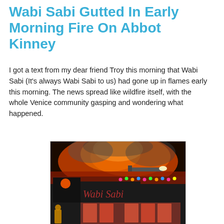Wabi Sabi Gutted In Early Morning Fire On Abbot Kinney
I got a text from my dear friend Troy this morning that Wabi Sabi (It's always Wabi Sabi to us) had gone up in flames early this morning. The news spread like wildfire itself, with the whole Venice community gasping and wondering what happened.
[Figure (photo): Night-time photograph of Wabi Sabi restaurant building on Abbot Kinney engulfed in fire, with orange flames and smoke visible above the roof, a firefighter ladder visible, colorful Christmas lights along the roofline, and the illuminated storefront below.]